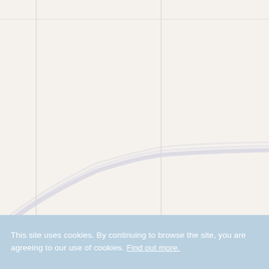[Figure (continuous-plot): Background decorative page with faint vertical grid lines and a sweeping curved lavender/blue wave arc rising from lower-left across the page on a warm off-white background.]
This site uses cookies. By continuing to browse the site, you are agreeing to our use of cookies. Find out more.